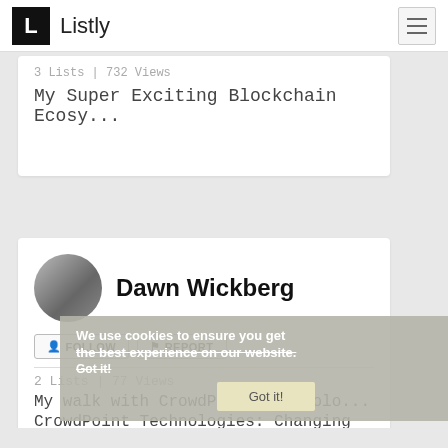L Listly
3 Lists | 732 Views
My Super Exciting Blockchain Ecosy...
Dawn Wickberg
FOLLOW   REPORT
2 Lists | 77 Views
My walk with CrowdPoint Technolo...
CrowdPoint Technologies: Changing ...
We use cookies to ensure you get the best experience on our website. Got it!